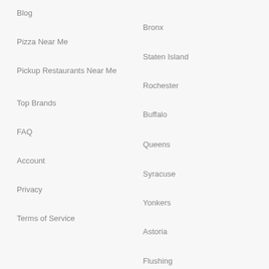Blog
Bronx
Pizza Near Me
Staten Island
Pickup Restaurants Near Me
Rochester
Top Brands
Buffalo
FAQ
Queens
Account
Syracuse
Privacy
Yonkers
Terms of Service
Astoria
Flushing
Albany
View All Cities